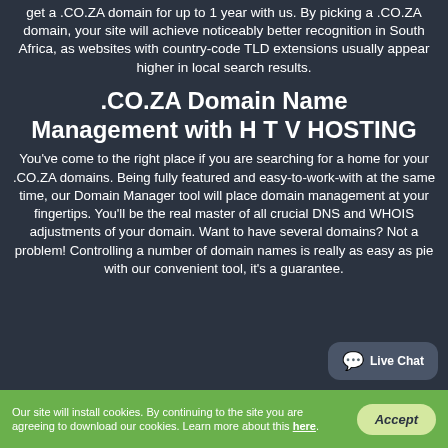get a .CO.ZA domain for up to 1 year with us. By picking a .CO.ZA domain, your site will achieve noticeably better recognition in South Africa, as websites with country-code TLD extensions usually appear higher in local search results.
.CO.ZA Domain Name Management with H T V HOSTING
You've come to the right place if you are searching for a home for your .CO.ZA domains. Being fully featured and easy-to-work-with at the same time, our Domain Manager tool will place domain management at your fingertips. You'll be the real master of all crucial DNS and WHOIS adjustments of your domain. Want to have several domains? Not a problem! Controlling a number of domain names is really as easy as pie with our convenient tool, it's a guarantee.
Our site will install cookies. By continuing to the site you are agreeing to download our cookies. Learn more about this here.